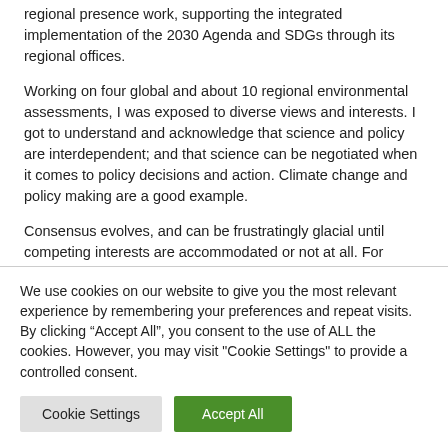regional presence work, supporting the integrated implementation of the 2030 Agenda and SDGs through its regional offices.
Working on four global and about 10 regional environmental assessments, I was exposed to diverse views and interests. I got to understand and acknowledge that science and policy are interdependent; and that science can be negotiated when it comes to policy decisions and action. Climate change and policy making are a good example.
Consensus evolves, and can be frustratingly glacial until competing interests are accommodated or not at all. For example, it took almost three decades for sustainable development to be universally embraced. With its roots in environmental discourse, sustainable development was often perceived as an environmental agenda to limit economic development. The world business communities that integration that...
We use cookies on our website to give you the most relevant experience by remembering your preferences and repeat visits. By clicking "Accept All", you consent to the use of ALL the cookies. However, you may visit "Cookie Settings" to provide a controlled consent.